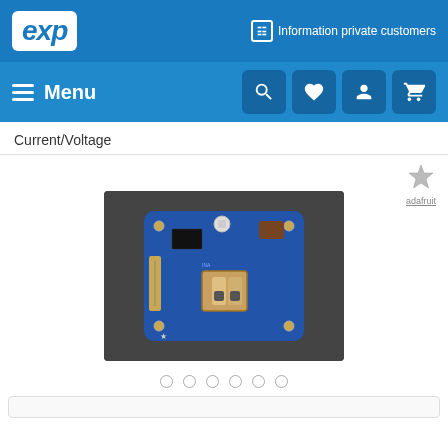EXP — Information private customers
Menu
Current/Voltage
[Figure (photo): Adafruit current/voltage sensor breakout board (blue PCB with connector) on dark background. Adafruit brand logo shown top right.]
adafruit